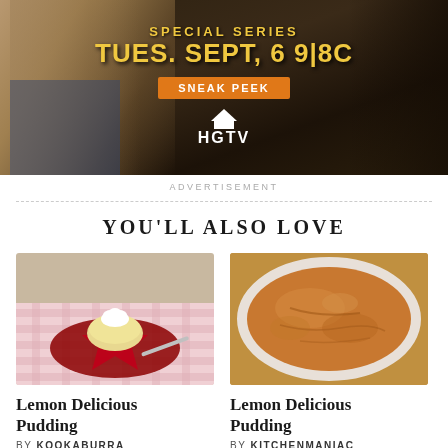[Figure (photo): HGTV advertisement banner showing a person in front of a wooden structure with text 'SPECIAL SERIES TUES. SEPT, 6 9|8c' and 'SNEAK PEEK' button and HGTV logo]
ADVERTISEMENT
YOU'LL ALSO LOVE
[Figure (photo): Photo of a lemon delicious pudding served on a red star-shaped plate with whipped cream, on a pink checked tablecloth]
[Figure (photo): Photo of a baked lemon delicious pudding in a white oval baking dish]
Lemon Delicious Pudding
BY KOOKABURRA
Lemon Delicious Pudding
BY KITCHENMANIAC